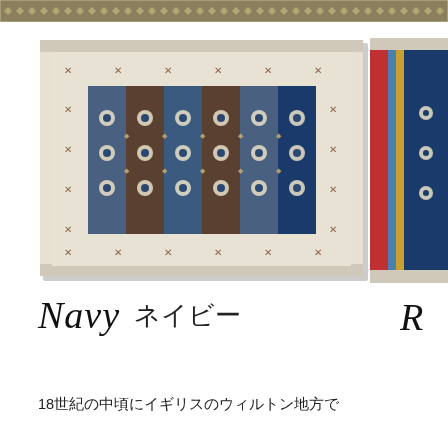[Figure (photo): Navy oriental/Wilton style rug with blue and brown geometric patterns on cream border, rectangular shape]
[Figure (photo): Partial view of a red oriental/Wilton style rug with red border and geometric patterns]
Navy ネイビー
18世紀の中頃にイギリスのウィルトン地方で